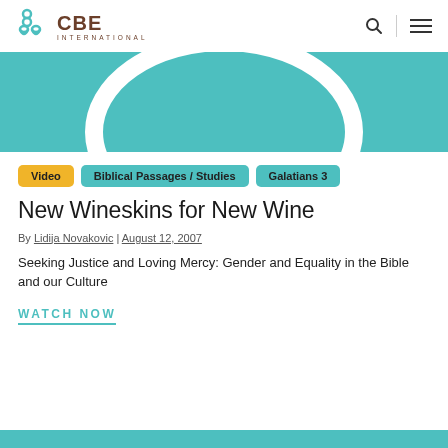CBE INTERNATIONAL
[Figure (illustration): Teal hero image with white arc/circle graphic on teal background]
Video
Biblical Passages / Studies
Galatians 3
New Wineskins for New Wine
By Lidija Novakovic | August 12, 2007
Seeking Justice and Loving Mercy: Gender and Equality in the Bible and our Culture
WATCH NOW